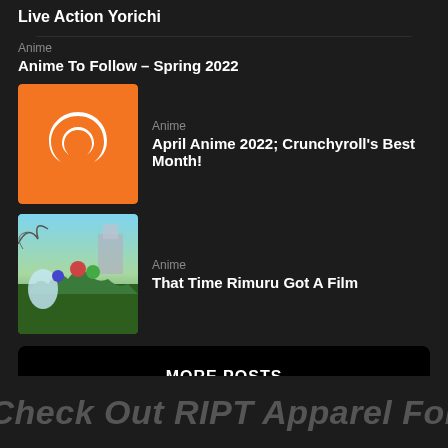Live Action Yorichi
Anime
Anime To Follow – Spring 2022
[Figure (photo): Crunchyroll orange logo with white crescent C symbol]
Anime
April Anime 2022; Crunchyroll's Best Month!
[Figure (photo): Anime scene with fantasy characters including a character with a blue cloak and a slime character in a green meadow with a castle in the background]
Anime
That Time Rimuru Got A Film
MORE POSTS
Check Out RIPT Apparel For